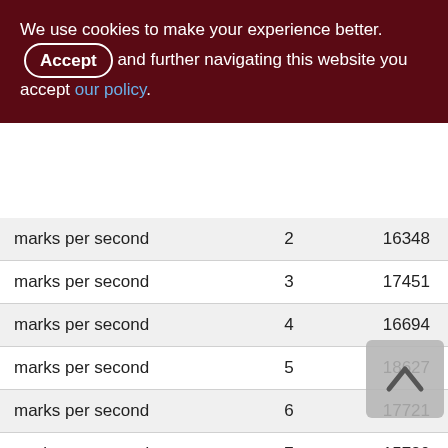We use cookies to make your experience better. By accepting and further navigating this website you accept our policy.
| marks per second | 2 | 16348 |
| marks per second | 3 | 17451 |
| marks per second | 4 | 16694 |
| marks per second | 5 | 18627 |
| marks per second | 6 | 17721 |
| marks per second | 7 | 15780 |
| marks per second | 8 | 18497 |
| marks per second | 9 | 17254 |
| marks per second | 10 | 13141 |